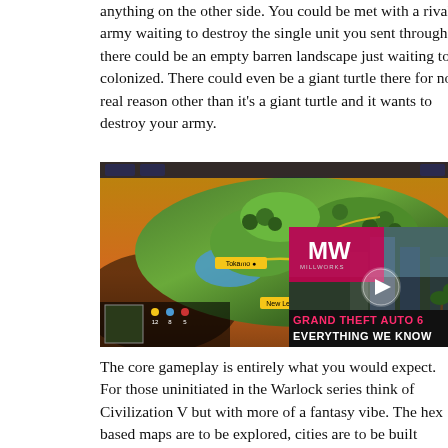anything on the other side. You could be met with a rival army waiting to destroy the single unit you sent through, or there could be an empty barren landscape just waiting to be colonized. There could even be a giant turtle there for no real reason other than it's a giant turtle and it wants to destroy your army.
[Figure (screenshot): Screenshot of a strategy game (Warlock) showing a hex-based map with cities, units, and terrain. An advertising overlay in the bottom right shows a video ad for 'Grand Theft Auto 6 - Everything We Know' with the MW (Millworks) logo and a play button.]
The core gameplay is entirely what you would expect. For those uninitiated in the Warlock series think of Civilization V but with more of a fantasy vibe. The hex based maps are to be explored, cities are to be built (although a pesky city limit